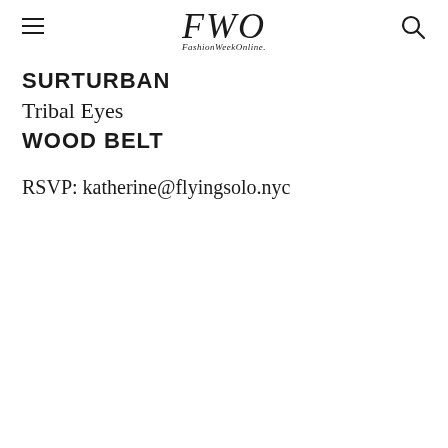FWO FashionWeekOnline
SURTURBAN
Tribal Eyes
WOOD BELT
RSVP: katherine@flyingsolo.nyc